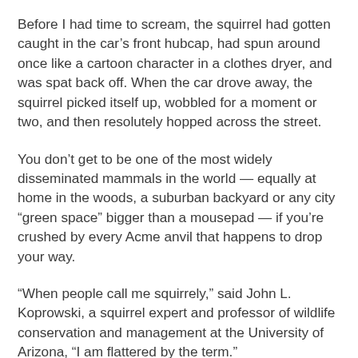Before I had time to scream, the squirrel had gotten caught in the car's front hubcap, had spun around once like a cartoon character in a clothes dryer, and was spat back off. When the car drove away, the squirrel picked itself up, wobbled for a moment or two, and then resolutely hopped across the street.
You don't get to be one of the most widely disseminated mammals in the world — equally at home in the woods, a suburban backyard or any city “green space” bigger than a mousepad — if you're crushed by every Acme anvil that happens to drop your way.
“When people call me squirrely,” said John L. Koprowski, a squirrel expert and professor of wildlife conservation and management at the University of Arizona, “I am flattered by the term.”
The Eastern gray tree squirrel, or Sciurus carolinensis, has been so spectacularly successful that it is often considered a pest. The International Union for Conservation of Nature includes the species on its list of the top 100 invasive...